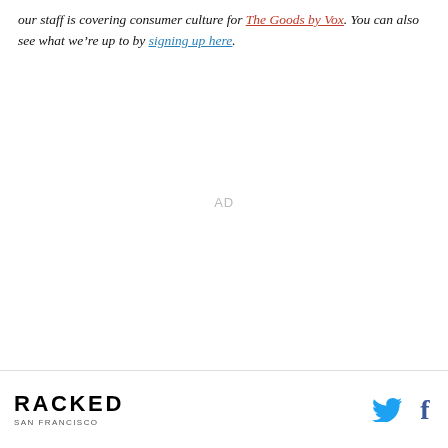our staff is covering consumer culture for The Goods by Vox. You can also see what we’re up to by signing up here.
AD
RACKED SAN FRANCISCO